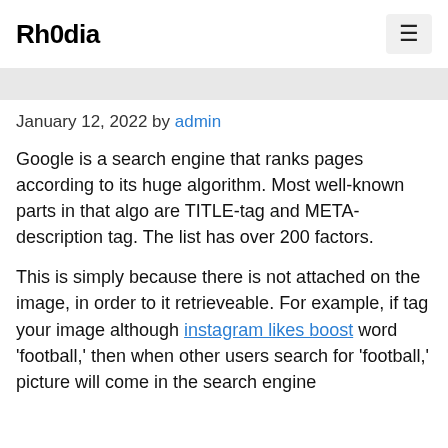Rh0dia
January 12, 2022 by admin
Google is a search engine that ranks pages according to its huge algorithm. Most well-known parts in that algo are TITLE-tag and META-description tag. The list has over 200 factors.
This is simply because there is not attached on the image, in order to it retrieveable. For example, if tag your image although instagram likes boost word 'football,' then when other users search for 'football,' picture will come in the search engine result.